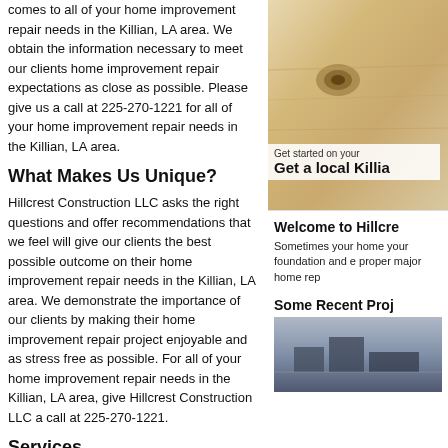comes to all of your home improvement repair needs in the Killian, LA area. We obtain the information necessary to meet our clients home improvement repair expectations as close as possible. Please give us a call at 225-270-1221 for all of your home improvement repair needs in the Killian, LA area.
What Makes Us Unique?
Hillcrest Construction LLC asks the right questions and offer recommendations that we feel will give our clients the best possible outcome on their home improvement repair needs in the Killian, LA area. We demonstrate the importance of our clients by making their home improvement repair project enjoyable and as stress free as possible. For all of your home improvement repair needs in the Killian, LA area, give Hillcrest Construction LLC a call at 225-270-1221.
Services
- Acoustic Ceiling Tiles - Install
- Addition to Existing Structure - Build
- Basement - Remodel
- Bathroom - Remodel
- Brick or Stone Siding: Install or Completely Replace
- Cabinets - Install
[Figure (photo): Close-up photo of wood with a knot visible, light tan/beige tones]
Get started on your
Get a local Killia
Welcome to Hillcre
Sometimes your home your foundation and e proper major home rep
Some Recent Proj
[Figure (photo): Photo of a construction project, blue/grey tones showing building materials]